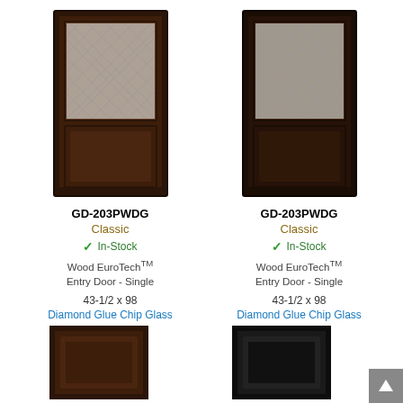[Figure (photo): Dark brown wood entry door with diamond glue chip glass upper half and solid panel lower half, left column]
GD-203PWDG
Classic
✓ In-Stock
Wood EuroTech™ Entry Door - Single
43-1/2 x 98
Diamond Glue Chip Glass
[Figure (photo): Dark brown wood entry door with diamond glue chip glass upper half and solid panel lower half, right column]
GD-203PWDG
Classic
✓ In-Stock
Wood EuroTech™ Entry Door - Single
43-1/2 x 98
Diamond Glue Chip Glass
[Figure (photo): Dark brown door panel thumbnail, bottom left]
[Figure (photo): Black door panel thumbnail, bottom right]